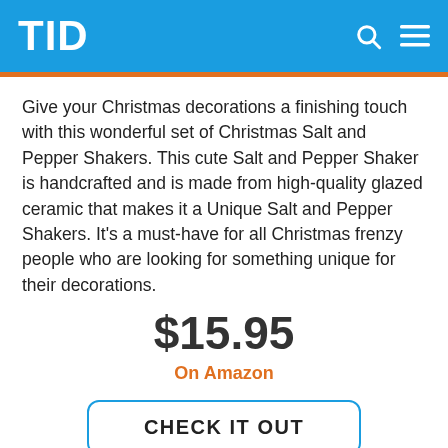TID
Give your Christmas decorations a finishing touch with this wonderful set of Christmas Salt and Pepper Shakers. This cute Salt and Pepper Shaker is handcrafted and is made from high-quality glazed ceramic that makes it a Unique Salt and Pepper Shakers. It’s a must-have for all Christmas frenzy people who are looking for something unique for their decorations.
$15.95
On Amazon
CHECK IT OUT